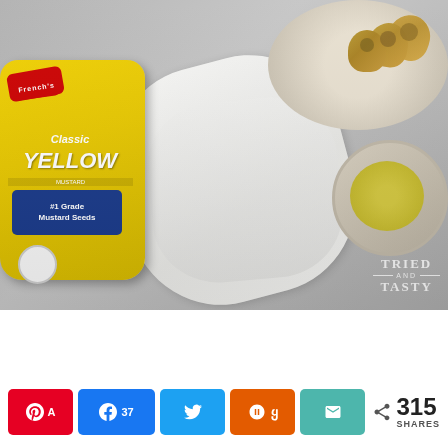[Figure (photo): Overhead food photography showing a yellow French's Classic Yellow Mustard squeeze bottle on a gray stone surface with a white linen cloth/napkin. In the upper right, a plate holds rolled-up wraps/pinwheels. A ceramic bowl with yellow mustard dipping sauce is visible on the right side. A 'Tried and Tasty' watermark is in the lower right corner of the image.]
A 315 SHARES
k 37
Twitter share button
Yummly share button
Email share button